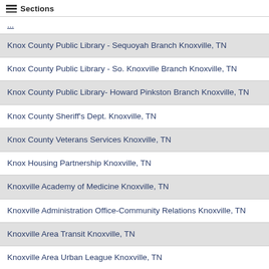Sections
Knox County Public Library - Sequoyah Branch Knoxville, TN
Knox County Public Library - So. Knoxville Branch Knoxville, TN
Knox County Public Library- Howard Pinkston Branch Knoxville, TN
Knox County Sheriff's Dept. Knoxville, TN
Knox County Veterans Services Knoxville, TN
Knox Housing Partnership Knoxville, TN
Knoxville Academy of Medicine Knoxville, TN
Knoxville Administration Office-Community Relations Knoxville, TN
Knoxville Area Transit Knoxville, TN
Knoxville Area Urban League Knoxville, TN
Knoxville Bar Association Knoxville, TN